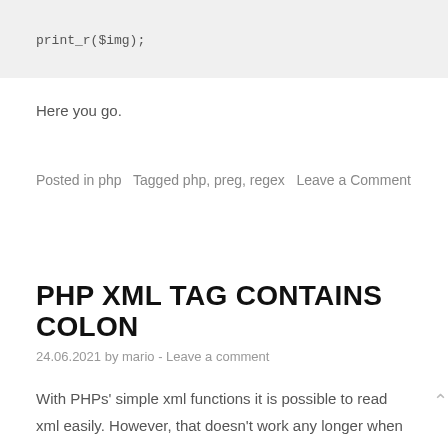Here you go.
Posted in php   Tagged php, preg, regex   Leave a Comment
PHP XML TAG CONTAINS COLON
24.06.2021 by mario - Leave a comment
With PHPs' simple xml functions it is possible to read xml easily. However, that doesn't work any longer when